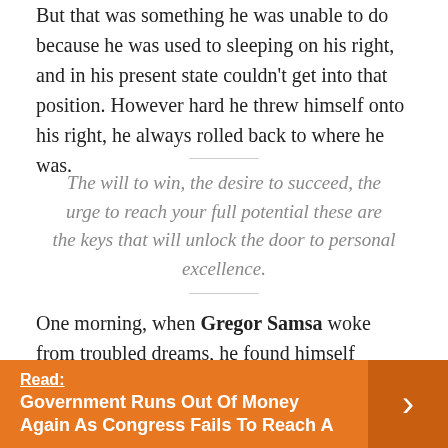But that was something he was unable to do because he was used to sleeping on his right, and in his present state couldn't get into that position. However hard he threw himself onto his right, he always rolled back to where he was.
The will to win, the desire to succeed, the urge to reach your full potential these are the keys that will unlock the door to personal excellence.
One morning, when Gregor Samsa woke from troubled dreams, he found himself transformed in his bed into a horrible vermin. He lay on his armour-like back, and if he lifted his head a little he could see his brown belly, slightly domed and divided by arches into stiff sections.
Read: Government Runs Out Of Money Again As Congress Fails To Reach A